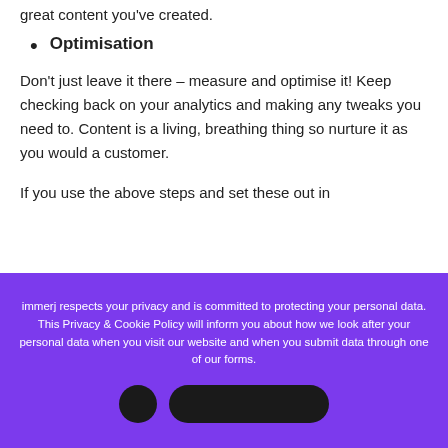great content you've created.
Optimisation
Don't just leave it there – measure and optimise it! Keep checking back on your analytics and making any tweaks you need to. Content is a living, breathing thing so nurture it as you would a customer.
If you use the above steps and set these out in
immerj respects your privacy and is committed to protecting your personal data. This Privacy & Cookie Policy will inform you about how we look after your personal data when you visit our website and when you submit data through one of our forms.